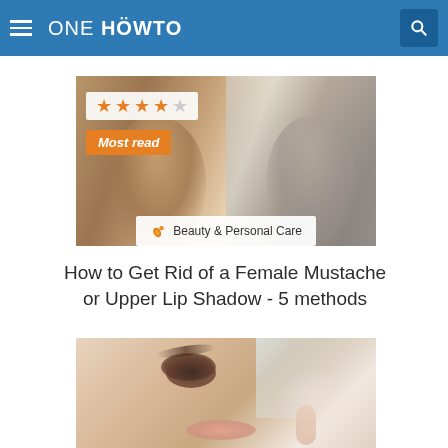ONE HOWTO
[Figure (photo): Woman looking at herself in a mirror, smiling, with stars rating overlay showing 4 out of 5 stars, 'Most read' badge, and 'Beauty & Personal Care' category tag]
How to Get Rid of a Female Mustache or Upper Lip Shadow - 5 methods
[Figure (photo): Close-up of a woman's face with makeup, showing her eye, cheek and lips]